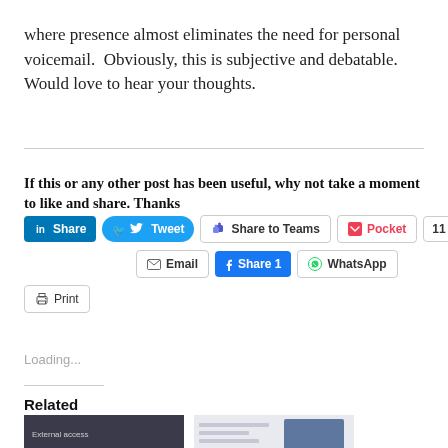where presence almost eliminates the need for personal voicemail.  Obviously, this is subjective and debatable.  Would love to hear your thoughts.
If this or any other post has been useful, why not take a moment to like and share. Thanks
[Figure (screenshot): Social sharing buttons: LinkedIn Share, Tweet, Share to Teams, Pocket (11), Email, Facebook Share 1, WhatsApp, Print]
Loading...
Related
[Figure (screenshot): Two related article thumbnail images side by side]